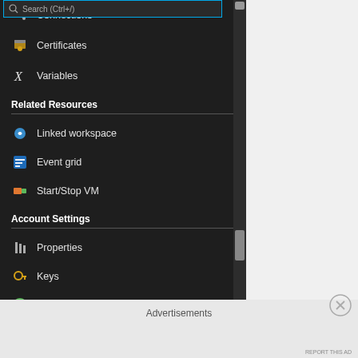[Figure (screenshot): Azure Automation sidebar navigation menu showing: search bar at top with blue border, menu items Connections, Certificates, Variables, section header Related Resources with Linked workspace, Event grid, Start/Stop VM, section header Account Settings with Properties, Keys, Pricing, Source control, Run as accounts (highlighted). Scrollbar on the right side.]
Advertisements
REPORT THIS AD